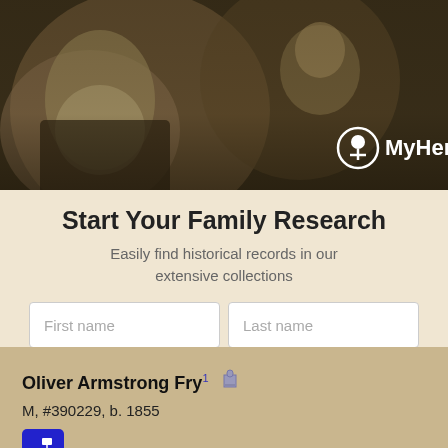[Figure (photo): MyHeritage banner with sepia-toned vintage photo of elderly bearded man and young child, with MyHeritage logo (tree icon and white text) in bottom right]
Start Your Family Research
Easily find historical records in our extensive collections
First name | Last name [search input fields]
Search [button]
Oliver Armstrong Fry¹ [gravestone icon]
M, #390229, b. 1855
[Figure (screenshot): Blue family tree icon button]